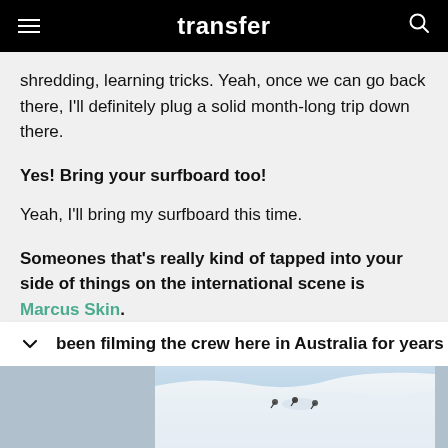transfer
shredding, learning tricks. Yeah, once we can go back there, I'll definitely plug a solid month-long trip down there.
Yes! Bring your surfboard too!
Yeah, I'll bring my surfboard this time.
Someones that's really kind of tapped into your side of things on the international scene is Marcus Skin.
Oh yeah!
been filming the crew here in Australia for years
[Figure (photo): Snow skiing/snowboarding action photo showing skiers on a snowy mountain slope with blue sky]